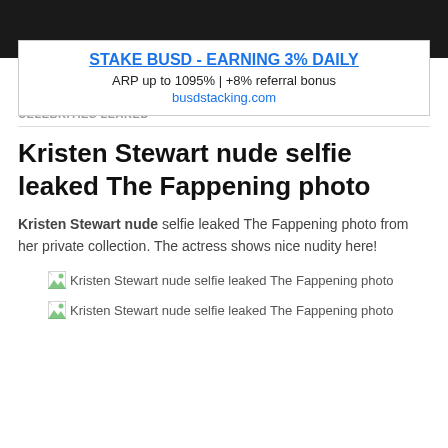[Figure (other): Dark top navigation bar]
STAKE BUSD - EARNING 3% DAILY
ARP up to 1095% | +8% referral bonus
busdstacking.com
CELEBRITIES LEAKED
Kristen Stewart nude selfie leaked The Fappening photo
Kristen Stewart nude selfie leaked The Fappening photo from her private collection. The actress shows nice nudity here!
[Figure (photo): Broken image placeholder with alt text: Kristen Stewart nude selfie leaked The Fappening photo]
[Figure (photo): Broken image placeholder with alt text: Kristen Stewart nude selfie leaked The Fappening photo]